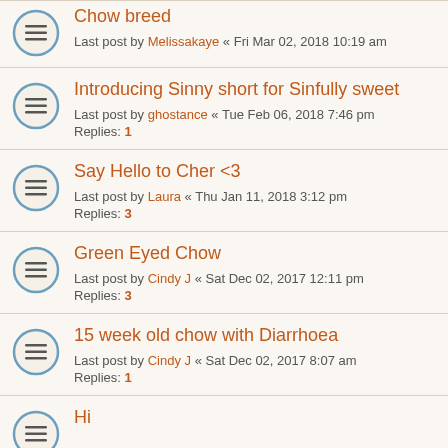Chow breed
Last post by Melissakaye « Fri Mar 02, 2018 10:19 am
Introducing Sinny short for Sinfully sweet
Last post by ghostance « Tue Feb 06, 2018 7:46 pm
Replies: 1
Say Hello to Cher <3
Last post by Laura « Thu Jan 11, 2018 3:12 pm
Replies: 3
Green Eyed Chow
Last post by Cindy J « Sat Dec 02, 2017 12:11 pm
Replies: 3
15 week old chow with Diarrhoea
Last post by Cindy J « Sat Dec 02, 2017 8:07 am
Replies: 1
Hi